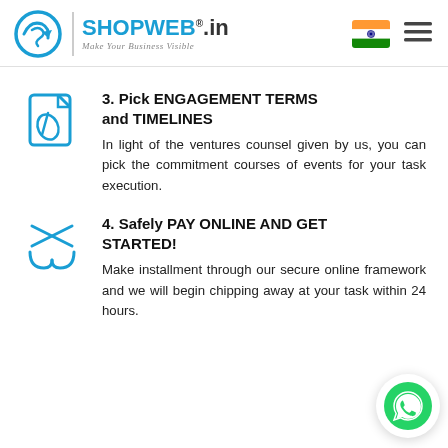[Figure (logo): ShopWeb.in logo with circular arrow icon, vertical divider, brand name SHOPWEB.in in teal/blue, tagline Make Your Business Visible, Indian flag, and hamburger menu icon]
3. Pick ENGAGEMENT TERMS and TIMELINES
In light of the ventures counsel given by us, you can pick the commitment courses of events for your task execution.
4. Safely PAY ONLINE AND GET STARTED!
Make installment through our secure online framework and we will begin chipping away at your task within 24 hours.